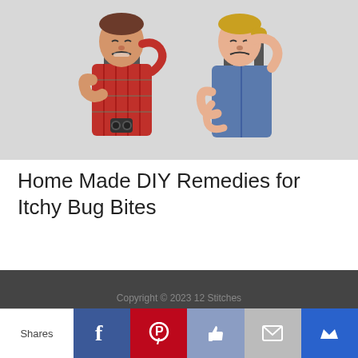[Figure (photo): Two hikers wearing backpacks scratching themselves, man in red plaid shirt scratching chest and neck, woman in blue jacket scratching arm and neck, both grimacing]
Home Made DIY Remedies for Itchy Bug Bites
Copyright © 2023 12 Stitches
Shares